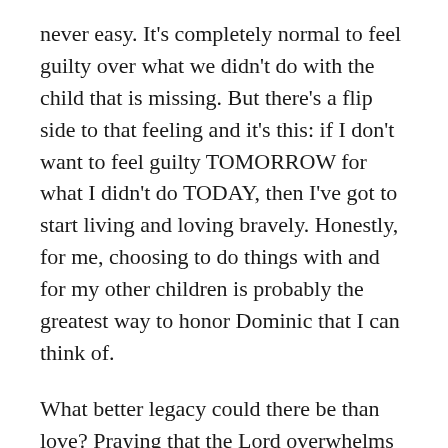never easy. It's completely normal to feel guilty over what we didn't do with the child that is missing. But there's a flip side to that feeling and it's this: if I don't want to feel guilty TOMORROW for what I didn't do TODAY, then I've got to start living and loving bravely. Honestly, for me, choosing to do things with and for my other children is probably the greatest way to honor Dominic that I can think of.
What better legacy could there be than love? Praying that the Lord overwhelms your hurting heart with HIs love, grace and mercy. ❤